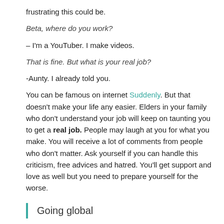frustrating this could be.
Beta, where do you work?
– I'm a YouTuber. I make videos.
That is fine. But what is your real job?
-Aunty. I already told you.
You can be famous on internet Suddenly. But that doesn't make your life any easier. Elders in your family who don't understand your job will keep on taunting you to get a real job. People may laugh at you for what you make. You will receive a lot of comments from people who don't matter. Ask yourself if you can handle this criticism, free advices and hatred. You'll get support and love as well but you need to prepare yourself for the worse.
Going global